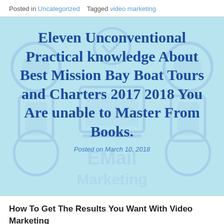Posted in Uncategorized   Tagged video marketing
Eleven Unconventional Practical knowledge About Best Mission Bay Boat Tours and Charters 2017 2018 You Are unable to Master From Books.
Posted on March 10, 2018
How To Get The Results You Want With Video Marketing